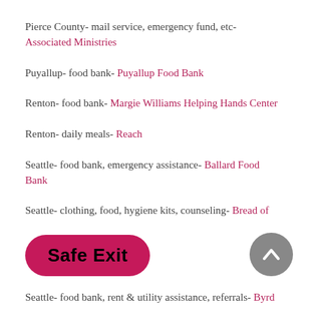Pierce County- mail service, emergency fund, etc- Associated Ministries
Puyallup- food bank- Puyallup Food Bank
Renton- food bank- Margie Williams Helping Hands Center
Renton- daily meals- Reach
Seattle- food bank, emergency assistance- Ballard Food Bank
Seattle- clothing, food, hygiene kits, counseling- Bread of
Seattle- food bank, rent & utility assistance, referrals- Byrd